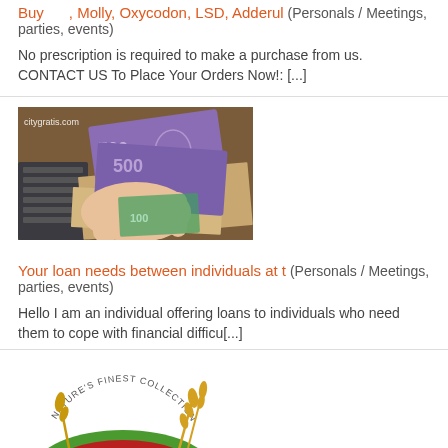Buy      , Molly, Oxycodon, LSD, Adderul (Personals / Meetings, parties, events)
No prescription is required to make a purchase from us. CONTACT US To Place Your Orders Now!: [...]
[Figure (photo): Hands holding Euro banknotes over a desk with a keyboard. Watermark: citygratis.com]
Your loan needs between individuals at t (Personals / Meetings, parties, events)
Hello I am an individual offering loans to individuals who need them to cope with financial difficu[...]
[Figure (logo): Nature's Basket logo — circular green and red emblem with wheat stalks, text reads Nature's Finest Collection / Nature's Basket]